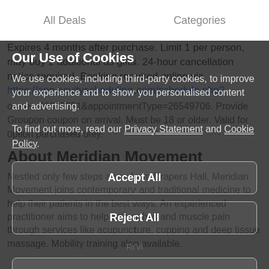All Deals    Categories
Expires 4 months after purchase. Limit 1 per person, may buy 2 additional as gifts. 24-hour cancellation notice required. Booking required online via https://app.acuityscheduling.com/schedule.php?
owner=20315351&appointmentType=26549706. Provide Groupon coupon on arrival. Must be 18 or older. Valid for option purchased only.
About Meridian Movement
Nestled only few steps away from Drapers Hall, Meridian Movement joins contemporary and traditional medicine to help their patients in the best ways. An experienced practitioner aims to help with aches and muscle pain through services like acupuncture, cupping and deep tissue massage. Mobility training also available.
Our Use of Cookies
We use cookies, including third-party cookies, to improve your experience and to show you personalised content and advertising.
To find out more, read our Privacy Statement and Cookie Policy.
Accept All
Reject All
My Options